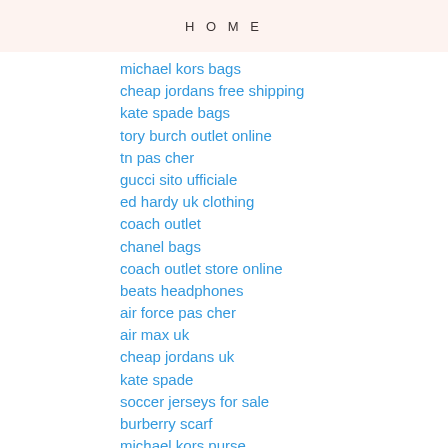HOME
michael kors bags
cheap jordans free shipping
kate spade bags
tory burch outlet online
tn pas cher
gucci sito ufficiale
ed hardy uk clothing
coach outlet
chanel bags
coach outlet store online
beats headphones
air force pas cher
air max uk
cheap jordans uk
kate spade
soccer jerseys for sale
burberry scarf
michael kors purse
ed hardy clothing outlet